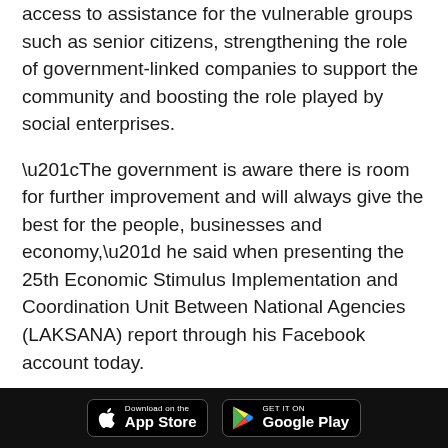access to assistance for the vulnerable groups such as senior citizens, strengthening the role of government-linked companies to support the community and boosting the role played by social enterprises.
“The government is aware there is room for further improvement and will always give the best for the people, businesses and economy,” he said when presenting the 25th Economic Stimulus Implementation and Coordination Unit Between National Agencies (LAKSANA) report through his Facebook account today.
Conducted by LAKSANA, the PRIHATIN survey, which involved more than 11,000 respondents and field trips to more than 10 locations nationwide, was intended to get public feedback on the impact of the implementation of the
[Figure (other): Footer bar with App Store and Google Play download badges on black background]